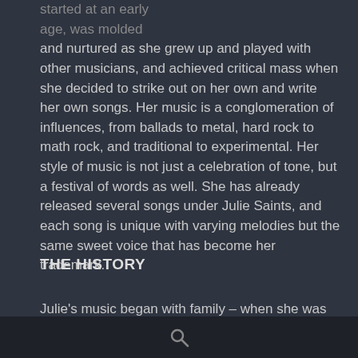started at an early age, was molded and nurtured as she grew up and played with other musicians, and achieved critical mass when she decided to strike out on her own and write her own songs. Her music is a conglomeration of influences, from ballads to metal, hard rock to math rock, and traditional to experimental. Her style of music is not just a celebration of tone, but a festival of words as well. She has already released several songs under Julie Saints, and each song is unique with varying melodies but the same sweet voice that has become her trademark.
THE HISTORY
Julie's music began with family – when she was five-years-old, her parents enrolled her with her siblings...